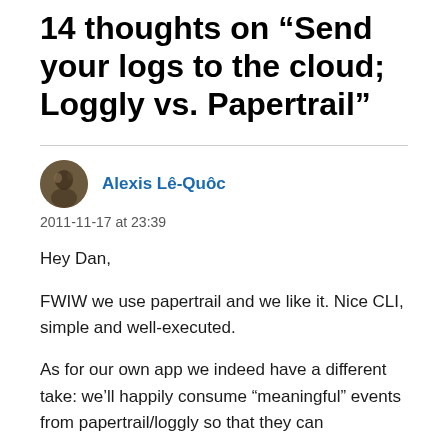14 thoughts on “Send your logs to the cloud; Loggly vs. Papertrail”
Alexis Lê-Quôc
2011-11-17 at 23:39
Hey Dan,
FWIW we use papertrail and we like it. Nice CLI, simple and well-executed.
As for our own app we indeed have a different take: we’ll happily consume “meaningful” events from papertrail/loggly so that they can